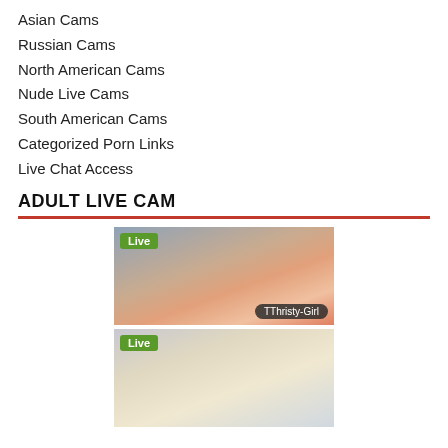Asian Cams
Russian Cams
North American Cams
Nude Live Cams
South American Cams
Categorized Porn Links
Live Chat Access
ADULT LIVE CAM
[Figure (photo): Live cam thumbnail of brunette woman with 'Live' badge and username 'TThristy-Girl']
[Figure (photo): Live cam thumbnail of blonde woman with 'Live' badge, partially visible]